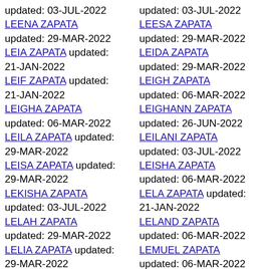updated: 03-JUL-2022 LEENA ZAPATA updated: 29-MAR-2022
LEIA ZAPATA updated: 21-JAN-2022
LEIF ZAPATA updated: 21-JAN-2022
LEIGHA ZAPATA updated: 06-MAR-2022
LEILA ZAPATA updated: 29-MAR-2022
LEISA ZAPATA updated: 29-MAR-2022
LEKISHA ZAPATA updated: 03-JUL-2022
LELAH ZAPATA updated: 29-MAR-2022
LELIA ZAPATA updated: 29-MAR-2022
LEN ZAPATA updated:
updated: 03-JUL-2022 LEESA ZAPATA updated: 29-MAR-2022
LEIDA ZAPATA updated: 29-MAR-2022
LEIGH ZAPATA updated: 06-MAR-2022
LEIGHANN ZAPATA updated: 26-JUN-2022
LEILANI ZAPATA updated: 03-JUL-2022
LEISHA ZAPATA updated: 06-MAR-2022
LELA ZAPATA updated: 21-JAN-2022
LELAND ZAPATA updated: 06-MAR-2022
LEMUEL ZAPATA updated: 06-MAR-2022
LENA ZAPATA updated: